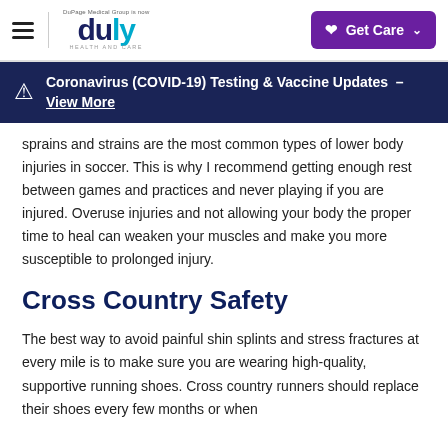DuPage Medical Group | duly Health and Care — Get Care
Coronavirus (COVID-19) Testing & Vaccine Updates – View More
sprains and strains are the most common types of lower body injuries in soccer. This is why I recommend getting enough rest between games and practices and never playing if you are injured. Overuse injuries and not allowing your body the proper time to heal can weaken your muscles and make you more susceptible to prolonged injury.
Cross Country Safety
The best way to avoid painful shin splints and stress fractures at every mile is to make sure you are wearing high-quality, supportive running shoes. Cross country runners should replace their shoes every few months or when